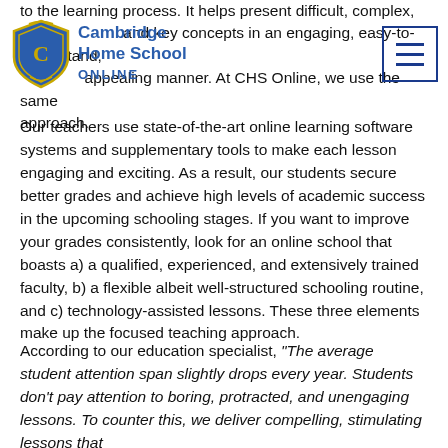Cambridge Home School ONLINE
to the learning process. It helps present difficult, complex, and key concepts in an engaging, easy-to-understand, appealing manner. At CHS Online, we use the same approach.
Our teachers use state-of-the-art online learning software systems and supplementary tools to make each lesson engaging and exciting. As a result, our students secure better grades and achieve high levels of academic success in the upcoming schooling stages. If you want to improve your grades consistently, look for an online school that boasts a) a qualified, experienced, and extensively trained faculty, b) a flexible albeit well-structured schooling routine, and c) technology-assisted lessons. These three elements make up the focused teaching approach.
According to our education specialist, “The average student attention span slightly drops every year. Students don’t pay attention to boring, protracted, and unengaging lessons. To counter this, we deliver compelling, stimulating lessons that